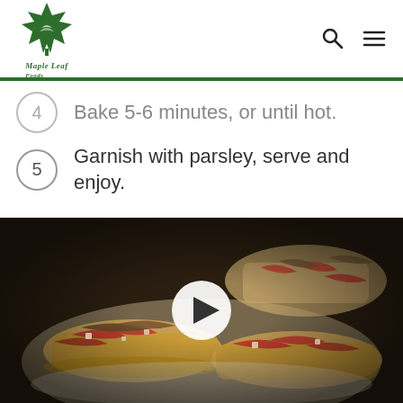Maple Leaf Foods — navigation header with logo, search and menu icons
Bake 5-6 minutes, or until hot.
Garnish with parsley, serve and enjoy.
[Figure (photo): Food photo showing bruschetta topped with sardines, roasted red peppers, and diced ingredients on sliced bread, on a white plate, with a video play button overlay in the center.]